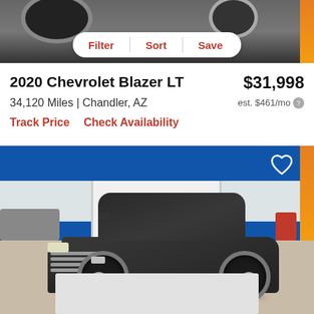[Figure (photo): Top portion of a car photo with filter/sort/save toolbar overlay on white pill-shaped bar]
2020 Chevrolet Blazer LT
$31,998
34,120 Miles | Chandler, AZ
est. $461/mo
Track Price
Check Availability
[Figure (photo): 2020 Chevrolet Blazer LT dark gray SUV parked in front of a Chevrolet dealership with blue and white exterior. Heart/save icon visible in top right corner. Bottom shows a white/gray placeholder rectangle.]